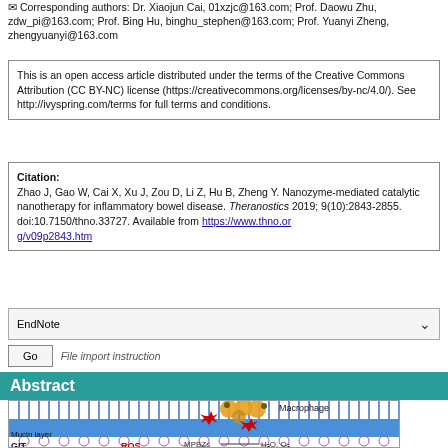✉ Corresponding authors: Dr. Xiaojun Cai, 01xzjc@163.com; Prof. Daowu Zhu, zdw_pi@163.com; Prof. Bing Hu, binghu_stephen@163.com; Prof. Yuanyi Zheng, zhengyuanyi@163.com
This is an open access article distributed under the terms of the Creative Commons Attribution (CC BY-NC) license (https://creativecommons.org/licenses/by-nc/4.0/). See http://ivyspring.com/terms for full terms and conditions.
Citation: Zhao J, Gao W, Cai X, Xu J, Zou D, Li Z, Hu B, Zheng Y. Nanozyme-mediated catalytic nanotherapy for inflammatory bowel disease. Theranostics 2019; 9(10):2843-2855. doi:10.7150/thno.33727. Available from https://www.thno.org/v09p2843.htm
EndNote
Go  File import instruction
Abstract
[Figure (illustration): Diagram showing nanozyme-mediated catalytic therapy in the gastrointestinal tract (GIT). Shows macrophages, mucin layer, ROS, MPBZs converting to H2O and O2, with blue epithelial cell layer depicted.]